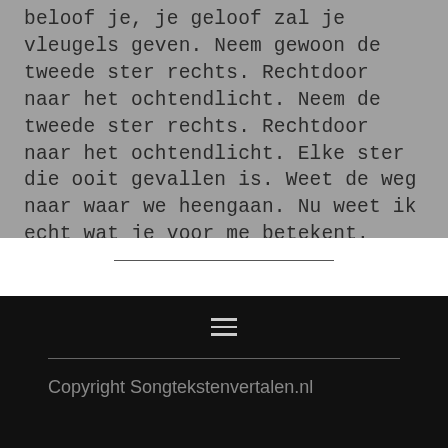beloof je, je geloof zal je vleugels geven. Neem gewoon de tweede ster rechts. Rechtdoor naar het ochtendlicht. Neem de tweede ster rechts. Rechtdoor naar het ochtendlicht. Elke ster die ooit gevallen is. Weet de weg naar waar we heengaan. Nu weet ik echt wat je voor me betekent.
Copyright Songtekstenvertalen.nl